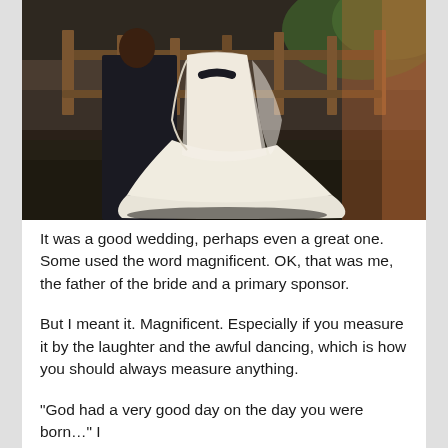[Figure (photo): Wedding photo showing a bride in a long flowing white/ivory dress from behind, standing with a groom in a dark suit. They are outdoors on dirt ground with a wooden fence and trees/greenery visible in the background. Warm sunset lighting on the right side.]
It was a good wedding, perhaps even a great one. Some used the word magnificent. OK, that was me, the father of the bride and a primary sponsor.
But I meant it. Magnificent. Especially if you measure it by the laughter and the awful dancing, which is how you should always measure anything.
“God had a very good day on the day you were born…” I